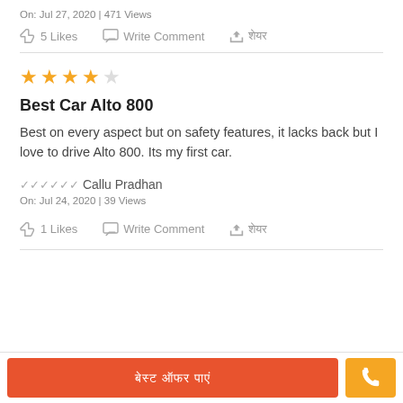On: Jul 27, 2020 | 471 Views
👍 5 Likes   💬 Write Comment   ➤ शेयर
★★★★☆
Best Car Alto 800
Best on every aspect but on safety features, it lacks back but I love to drive Alto 800. Its my first car.
ভেরিফাইড Callu Pradhan
On: Jul 24, 2020 | 39 Views
👍 1 Likes   💬 Write Comment   ➤ शेयर